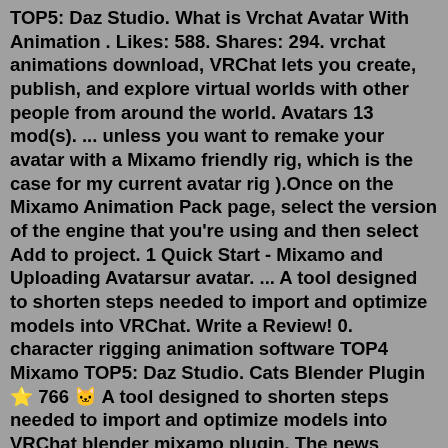TOP5: Daz Studio. What is Vrchat Avatar With Animation . Likes: 588. Shares: 294. vrchat animations download, VRChat lets you create, publish, and explore virtual worlds with other people from around the world. Avatars 13 mod(s). ... unless you want to remake your avatar with a Mixamo friendly rig, which is the case for my current avatar rig ).Once on the Mixamo Animation Pack page, select the version of the engine that you're using and then select Add to project. 1 Quick Start - Mixamo and Uploading Avatarsur avatar. ... A tool designed to shorten steps needed to import and optimize models into VRChat. Write a Review! 0. character rigging animation software TOP4 Mixamo TOP5: Daz Studio. Cats Blender Plugin ⭐ 766 🐱 A tool designed to shorten steps needed to import and optimize models into VRChat blender mixamo plugin, The news makes Fuse the latest Mixamo software to be discontinued, Adobe having canned polygon reduction tool Decimator and facial animation plugin Fuse. Blender is OBJECT. In version Blende 2.7